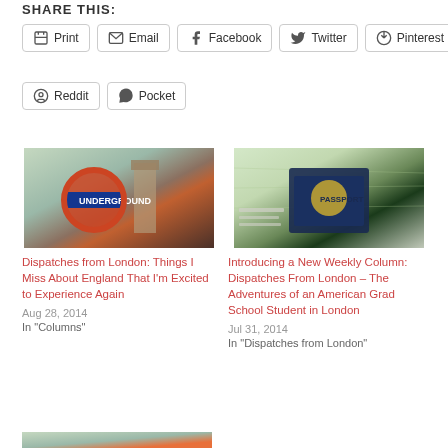SHARE THIS:
Print | Email | Facebook | Twitter | Pinterest
Reddit | Pocket
[Figure (photo): London Underground sign with Big Ben in background]
Dispatches from London: Things I Miss About England That I'm Excited to Experience Again
Aug 28, 2014
In "Columns"
[Figure (photo): US Passport on a map with documents]
Introducing a New Weekly Column: Dispatches From London – The Adventures of an American Grad School Student in London
Jul 31, 2014
In "Dispatches from London"